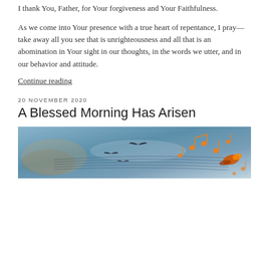I thank You, Father, for Your forgiveness and Your Faithfulness.
As we come into Your presence with a true heart of repentance, I pray—take away all you see that is unrighteousness and all that is an abomination in Your sight in our thoughts, in the words we utter, and in our behavior and attitude.
Continue reading
20 NOVEMBER 2020
A Blessed Morning Has Arisen
[Figure (photo): A decorative image showing birds in flight against a dramatic sky with orange musical notes floating through the air, suggesting a morning musical theme.]